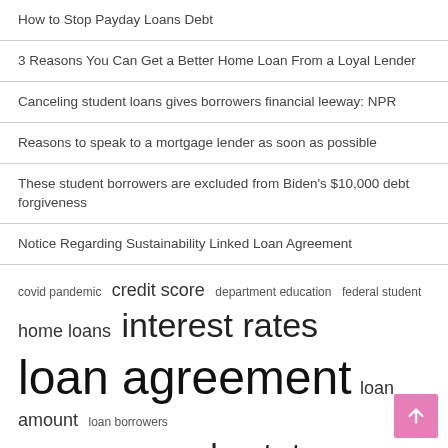How to Stop Payday Loans Debt
3 Reasons You Can Get a Better Home Loan From a Loyal Lender
Canceling student loans gives borrowers financial leeway: NPR
Reasons to speak to a mortgage lender as soon as possible
These student borrowers are excluded from Biden's $10,000 debt forgiveness
Notice Regarding Sustainability Linked Loan Agreement
[Figure (infographic): Tag cloud with finance-related terms at varying sizes: covid pandemic, credit score, department education, federal student (small), home loans (medium), interest rates (large), loan agreement (extra large), loan amount (medium), loan borrowers (small), long term (small), press release (small), real estate (large), short term (small)]